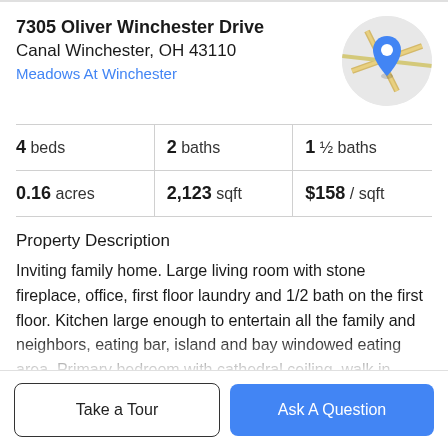7305 Oliver Winchester Drive
Canal Winchester, OH 43110
Meadows At Winchester
[Figure (map): Circular map thumbnail showing street map with a blue location pin marker]
4 beds | 2 baths | 1 ½ baths
0.16 acres | 2,123 sqft | $158 / sqft
Property Description
Inviting family home. Large living room with stone fireplace, office, first floor laundry and 1/2 bath on the first floor. Kitchen large enough to entertain all the family and neighbors, eating bar, island and bay windowed eating area. Primary bedroom with cathedral ceiling, walk in